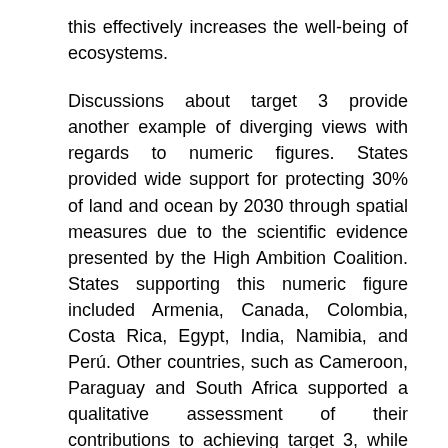this effectively increases the well-being of ecosystems.
Discussions about target 3 provide another example of diverging views with regards to numeric figures. States provided wide support for protecting 30% of land and ocean by 2030 through spatial measures due to the scientific evidence presented by the High Ambition Coalition. States supporting this numeric figure included Armenia, Canada, Colombia, Costa Rica, Egypt, India, Namibia, and Perú. Other countries, such as Cameroon, Paraguay and South Africa supported a qualitative assessment of their contributions to achieving target 3, while Turkey and Jordan opposed the numeric figure. A possible explanation for such a qualitative assessment or opposition to the numeric figure might lie in that these countries pursued to avoid being